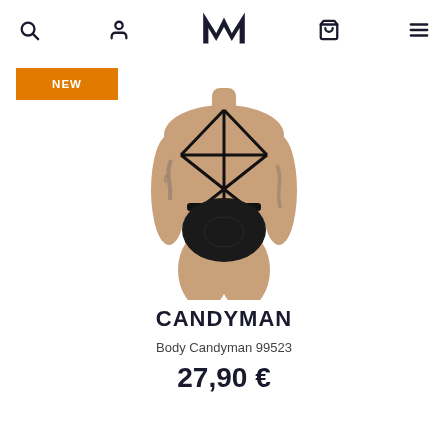M (logo) with search, user, bag, menu icons
[Figure (photo): Male model wearing Candyman 99523 body harness underwear in black with straps across the chest and a brief bottom. The model is shown from neck to upper thigh against a white background.]
NEW
CANDYMAN
Body Candyman 99523
27,90 €